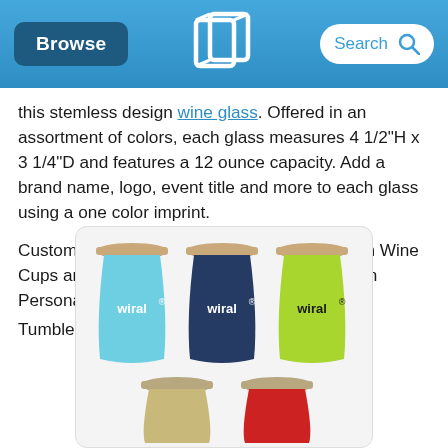Browse | [Quality Logo Products logo] | Search
this stemless design wine glass. Offered in an assortment of colors, each glass measures 4 1/2"H x 3 1/4"D and features a 12 ounce capacity. Add a brand name, logo, event title and more to each glass using a one color imprint.
Customers love to shop our Marketing Vacuum Wine Cups and enjoy the guaranteed lowest price on Personalized Wine Tumblers & Custom Wine Tumblers from Quality Logo Products®
[Figure (photo): Three stemless wine tumblers in light blue, navy blue, and lime green colors, each branded with 'wiral®' logo, shown in top row; two more tumblers (gold/champagne and red) partially visible in bottom row.]